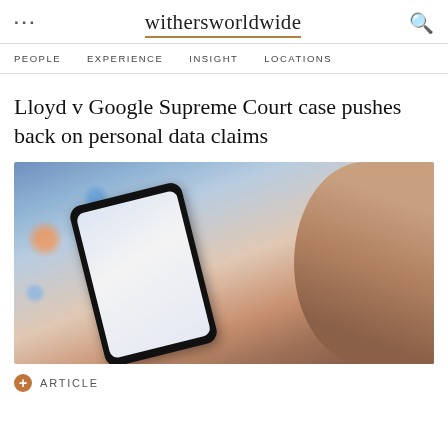withersworldwide
PEOPLE   EXPERIENCE   INSIGHT   LOCATIONS
Lloyd v Google Supreme Court case pushes back on personal data claims
[Figure (photo): Person holding a smartphone with a glowing screen, bokeh city lights background]
ARTICLE